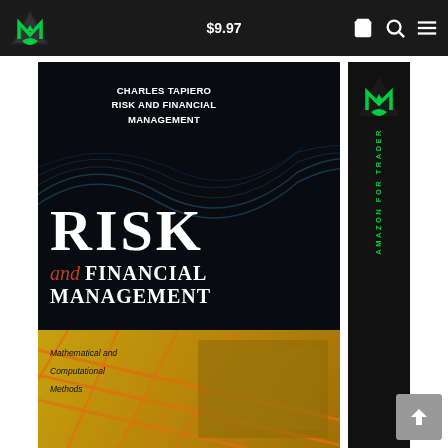$9.97
[Figure (screenshot): Book cover for 'Risk and Financial Management: Mathematical and Computational Methods' by Charles Tapiero, shown on a retail website with navigation bar showing price $9.97, cart, search, and menu icons. The book cover features white bold text of author name and title on black background, large white serif RISK text, red italic 'and', white FINANCIAL MANAGEMENT text, and a colorful yellow/orange bottom section with diagonal orange lines.]
CHARLES TAPIERO RISK AND FINANCIAL MANAGEMENT
RISK and FINANCIAL MANAGEMENT Mathematical and Computational Methods
AMAZON FOR TRADER